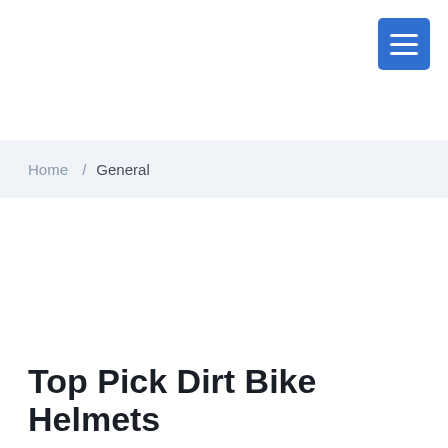[hamburger menu button]
Home / General
Top Pick Dirt Bike Helmets